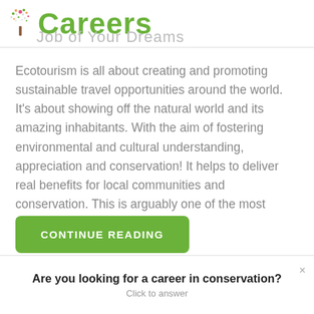Careers · Job of Your Dreams
Ecotourism is all about creating and promoting sustainable travel opportunities around the world. It's about showing off the natural world and its amazing inhabitants. With the aim of fostering environmental and cultural understanding, appreciation and conservation! It helps to deliver real benefits for local communities and conservation. This is arguably one of the most important
CONTINUE READING
Are you looking for a career in conservation?
Click to answer